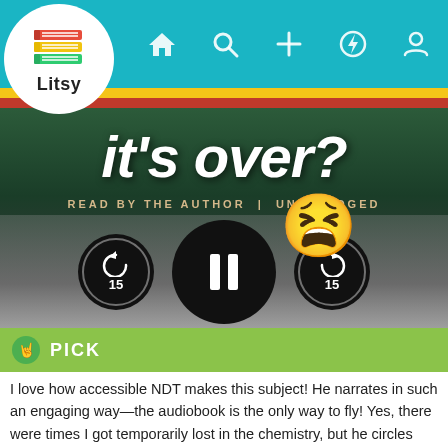[Figure (screenshot): Litsy app screenshot showing audiobook player with navigation bar, book cover image with text 'it's over?' and 'READ BY THE AUTHOR | UNABRIDGED', playback controls with rewind 15, pause, forward 15 buttons, a tired/frustrated emoji, a green PICK badge, and a user review text.]
I love how accessible NDT makes this subject! He narrates in such an engaging way—the audiobook is the only way to fly! Yes, there were times I got temporarily lost in the chemistry, but he circles back for us non-pros.
I particularly liked how he wove the history of astronomy throughout; introduced readers to the 'stars' of the interdisciplinary